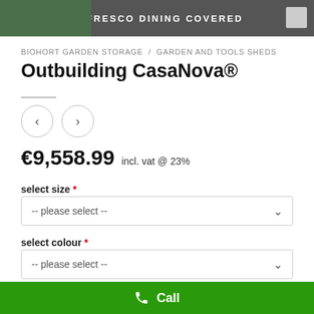ALFRESCO DINING COVERED
BIOHORT GARDEN STORAGE / GARDEN AND TOOLS SHEDS
Outbuilding CasaNova®
€9,558.99 incl. vat @ 23%
select size *
-- please select --
select colour *
-- please select --
Select doors *
Call